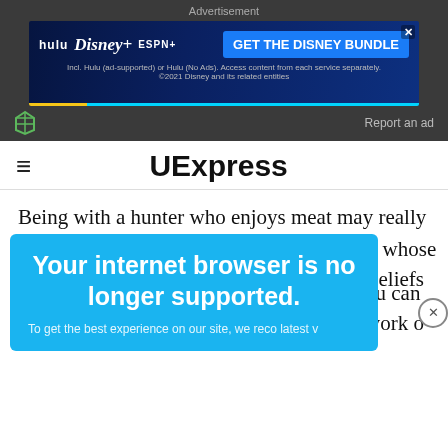[Figure (screenshot): Disney Bundle advertisement banner with hulu, Disney+, ESPN+ logos and 'GET THE DISNEY BUNDLE' call to action on dark blue background]
Advertisement
Report an ad
UExpress
Being with a hunter who enjoys meat may really be a struggle for him. You may feel judged because he is
[Figure (screenshot): Browser warning overlay: 'Your internet browser is no longer supported.' on bright blue background]
e whose beliefs
ou can work o
To get the best experience on our site, we reco latest v
e outside of
and,
ave you
Report an ad
[Figure (screenshot): Second Disney Bundle advertisement banner at bottom of page]